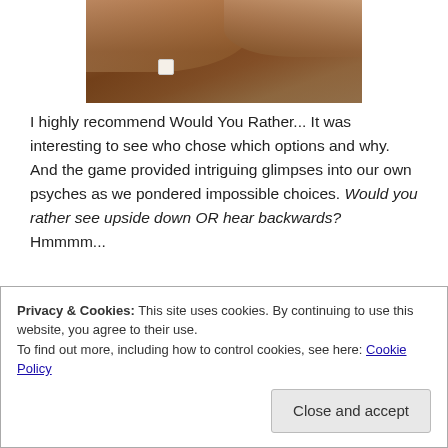[Figure (photo): A photo showing hands on a wooden table surface with a small white dice visible in the lower portion of the image.]
I highly recommend Would You Rather... It was interesting to see who chose which options and why. And the game provided intriguing glimpses into our own psyches as we pondered impossible choices. Would you rather see upside down OR hear backwards? Hmmmm...
Privacy & Cookies: This site uses cookies. By continuing to use this website, you agree to their use.
To find out more, including how to control cookies, see here: Cookie Policy
Close and accept